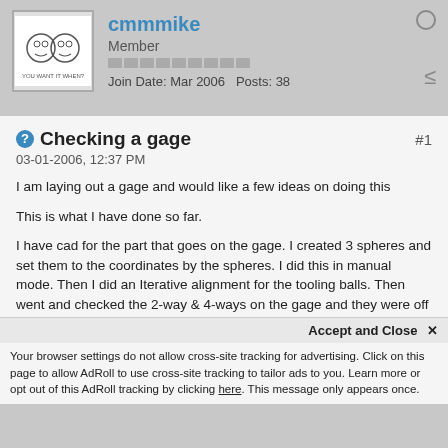cmmmike
Member
Join Date: Mar 2006   Posts: 38
Checking a gage
03-01-2006, 12:37 PM
I am laying out a gage and would like a few ideas on doing this

This is what I have done so far.

I have cad for the part that goes on the gage. I created 3 spheres and set them to the coordinates by the spheres. I did this in manual mode. Then I did an Iterative alignment for the tooling balls. Then went and checked the 2-way & 4-ways on the gage and they were off to their nominal to the part cad. I then did an Iterative alignment with the 2-way & 4-way pins and a vector point to set the gage in the correct car coordinates. Then recalled the tooling balls and they were out. I changed my numbers at the beginning of the program to reflect what I had got from setting it to the car coordinates. I then redid the program with the tooling balls up dated and my 2-way & 4-ways were almost perfect this time. The 2-way for the gage is out (.16 long) in X so I think I have to lower one of the tooling balls to bring it in. All the other dims 4-way and vector point are almost perfect. The X direction for the part is a
Accept and Close ✕
Your browser settings do not allow cross-site tracking for advertising. Click on this page to allow AdRoll to use cross-site tracking to tailor ads to you. Learn more or opt out of this AdRoll tracking by clicking here. This message only appears once.